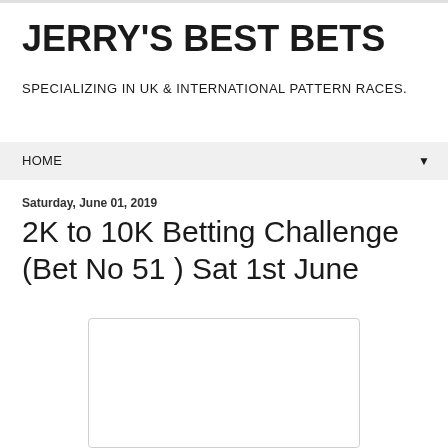JERRY'S BEST BETS
SPECIALIZING IN UK & INTERNATIONAL PATTERN RACES.
HOME ▼
Saturday, June 01, 2019
2K to 10K Betting Challenge (Bet No 51 ) Sat 1st June
[Figure (other): Embedded image placeholder, white rectangle with light border]